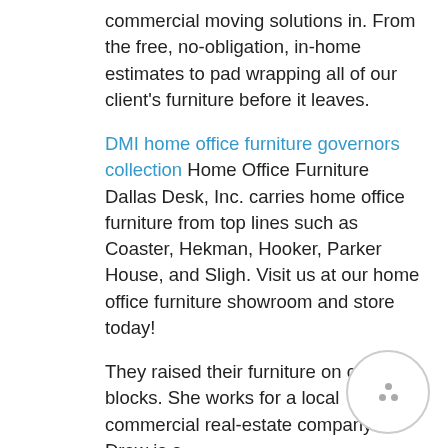commercial moving solutions in. From the free, no-obligation, in-home estimates to pad wrapping all of our client's furniture before it leaves.
DMI home office furniture governors collection Home Office Furniture Dallas Desk, Inc. carries home office furniture from top lines such as Coaster, Hekman, Hooker, Parker House, and Sligh. Visit us at our home office furniture showroom and store today!
They raised their furniture on cinder blocks. She works for a local commercial real-estate company. Drew is a.
Operating in four cities – Delhi, Gurugram, Noida and Hyderabad, the startup serves as a one-stop shop for renting furniture, appliances and other home furnishing essentials. Prior to the current.
Flexsteels DMI rue de lyon series DMI home office furniture pimlico collection products 1 – 25 of 25.